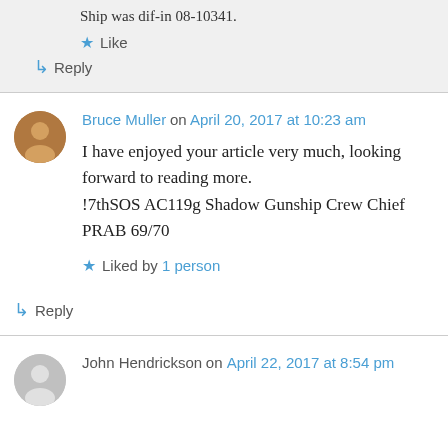Ship was dif-in 08-10341.
Like
Reply
Bruce Muller on April 20, 2017 at 10:23 am
I have enjoyed your article very much, looking forward to reading more. !7thSOS AC119g Shadow Gunship Crew Chief PRAB 69/70
Liked by 1 person
Reply
John Hendrickson on April 22, 2017 at 8:54 pm